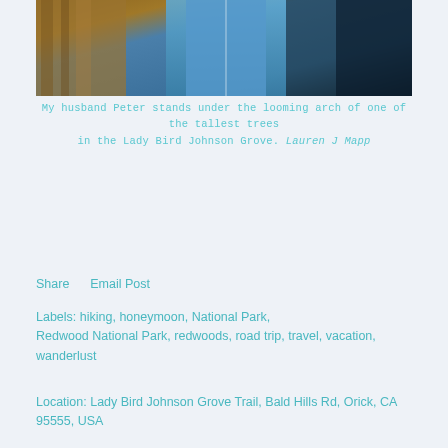[Figure (photo): Photo of a person (Peter) in a blue jacket standing under a tall redwood tree in Lady Bird Johnson Grove]
My husband Peter stands under the looming arch of one of the tallest trees in the Lady Bird Johnson Grove. Lauren J Mapp
Share     Email Post
Labels: hiking, honeymoon, National Park, Redwood National Park, redwoods, road trip, travel, vacation, wanderlust
Location: Lady Bird Johnson Grove Trail, Bald Hills Rd, Orick, CA 95555, USA